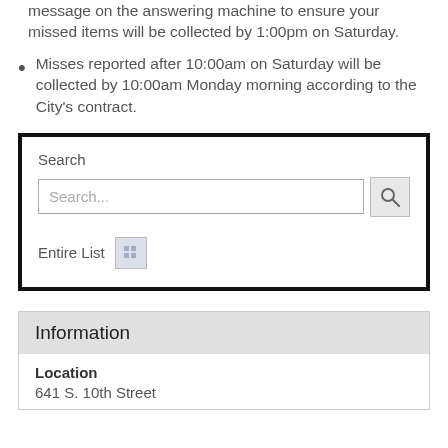message on the answering machine to ensure your missed items will be collected by 1:00pm on Saturday.
Misses reported after 10:00am on Saturday will be collected by 10:00am Monday morning according to the City's contract.
[Figure (screenshot): Search widget with a text input field labeled 'Search...' and a magnifying glass button, plus an 'Entire List' link with a grid icon, all inside a thick black border box.]
Information
Location
641 S. 10th Street